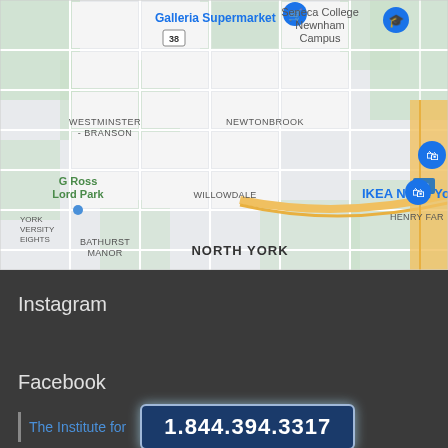[Figure (map): Google Maps screenshot showing North York area of Toronto, Canada. Shows neighborhoods including Westminster-Branson, Newtonbrook, Bayview Village, Willowdale, North York, G Ross Lord Park, Bathurst Manor, York University Heights. Notable landmarks labeled include Galleria Supermarket, Seneca College Newnham Campus, IKEA North York. Blue location pins visible. Major roads and yellow highway visible at bottom right.]
Instagram
Facebook
The Institute for
1.844.394.3317